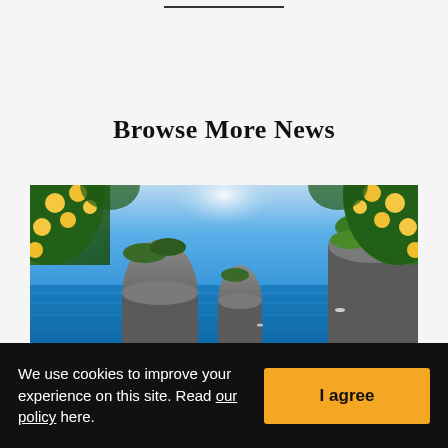Browse More News
[Figure (photo): Scenic coastal photo of Capri, Italy — rocky sea stacks (Faraglioni) rising from vivid blue water, framed by yellow lemon branches in the foreground]
We use cookies to improve your experience on this site. Read our policy here. I agree